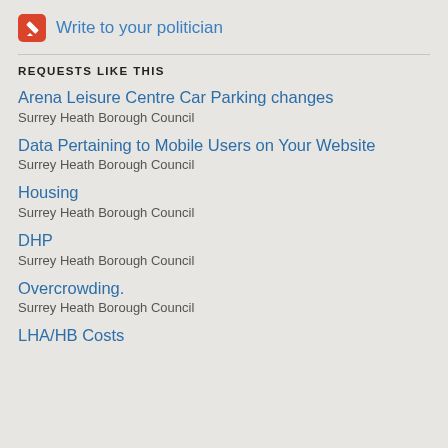Write to your politician
REQUESTS LIKE THIS
Arena Leisure Centre Car Parking changes
Surrey Heath Borough Council
Data Pertaining to Mobile Users on Your Website
Surrey Heath Borough Council
Housing
Surrey Heath Borough Council
DHP
Surrey Heath Borough Council
Overcrowding.
Surrey Heath Borough Council
LHA/HB Costs